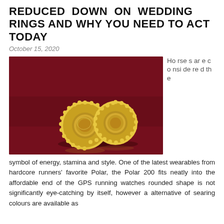REDUCED DOWN ON WEDDING RINGS AND WHY YOU NEED TO ACT TODAY
October 15, 2020
[Figure (photo): Two ornate golden wedding rings with detailed filigree work and coin-style medallion centers, placed on a dark red velvet background.]
Horses are considered the symbol of energy, stamina and style. One of the latest wearables from hardcore runners' favorite Polar, the Polar 200 fits neatly into the affordable end of the GPS running watches rounded shape is not significantly eye-catching by itself, however a alternative of searing colours are available as